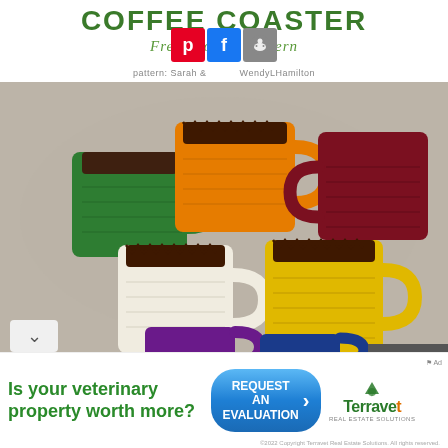COFFEE COASTER
Free Crochet Pattern
pattern: Sarah & WendyLHamilton
[Figure (photo): Six crocheted coffee cup coasters in green, orange, dark red/maroon, white, yellow, and partial purple and blue. They are laid on a light concrete surface. Each coaster is shaped like a mug with a handle and has a dark brown top edge suggesting coffee.]
Is your veterinary property worth more?
REQUEST AN EVALUATION
[Figure (logo): Terravet Real Estate Solutions logo with green mountain/paw icon]